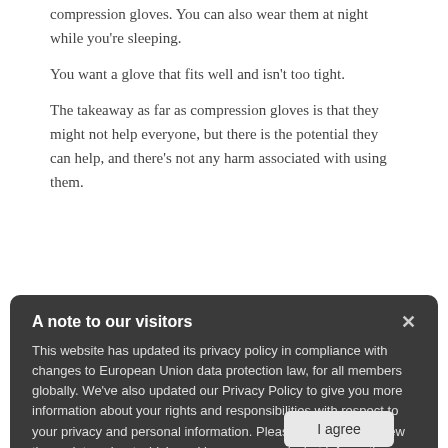compression gloves. You can also wear them at night while you're sleeping.
You want a glove that fits well and isn't too tight.
The takeaway as far as compression gloves is that they might not help everyone, but there is the potential they can help, and there's not any harm associated with using them.
What About Copper?
Gloves that is supposed to make them helpful for arthritis is the copper
Copper is an essential trace mineral that helps your ... copper also helps with healthy nerve
A note to our visitors
This website has updated its privacy policy in compliance with changes to European Union data protection law, for all members globally. We've also updated our Privacy Policy to give you more information about your rights and responsibilities with respect to your privacy and personal information. Please read this to review the updates about which cookies we use and what information we collect on our site. By continuing to use this site, you are agreeing to our updated privacy policy.